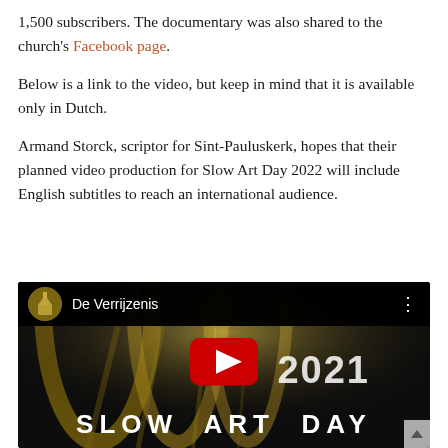1,500 subscribers. The documentary was also shared to the church's Facebook page.
Below is a link to the video, but keep in mind that it is available only in Dutch.
Armand Storck, scriptor for Sint-Pauluskerk, hopes that their planned video production for Slow Art Day 2022 will include English subtitles to reach an international audience.
[Figure (screenshot): YouTube video thumbnail for 'De Verrijzenis' showing the interior of a church with golden arched ceilings and the text '2021 SLOW ART DAY' overlaid. A YouTube play button is centered on the image.]